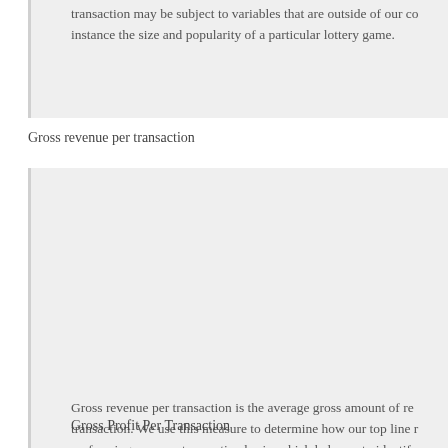transaction may be subject to variables that are outside of our control, for instance the size and popularity of a particular lottery game.
Gross revenue per transaction
Gross revenue per transaction is the average gross amount of revenue per transaction. We use this measure to determine how our top line revenue is performing on a per transaction basis, which helps us to identify and monitor pricing trends. We believe this metric is useful for our investors because it provides insight into our revenue growth potential on a per transaction basis.
Gross Profit Per Transaction